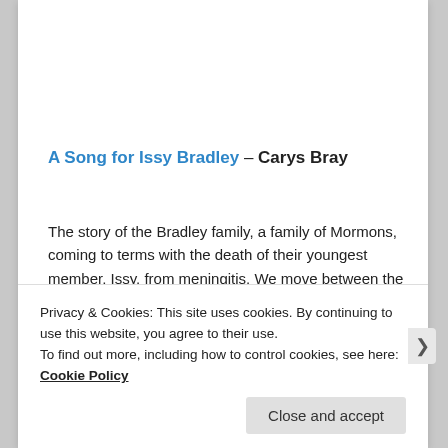A Song for Issy Bradley – Carys Bray
The story of the Bradley family, a family of Mormons, coming to terms with the death of their youngest member, Issy, from meningitis. We move between the family members – two teenagers, Zippy and Alma, seven-year-old Jacob, and parents Ian and Claire as they question their faith and work out how life can go on. Unexpectedly full of humour with great characters.
Privacy & Cookies: This site uses cookies. By continuing to use this website, you agree to their use.
To find out more, including how to control cookies, see here: Cookie Policy